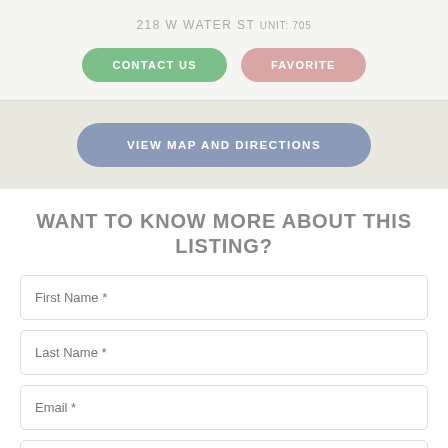218 W WATER ST Unit: 705
CONTACT US
FAVORITE
VIEW MAP AND DIRECTIONS
WANT TO KNOW MORE ABOUT THIS LISTING?
First Name *
Last Name *
Email *
Phone